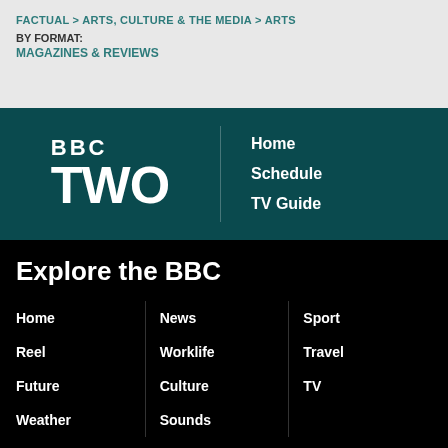FACTUAL > ARTS, CULTURE & THE MEDIA > ARTS BY FORMAT: MAGAZINES & REVIEWS
[Figure (logo): BBC TWO logo in white on dark teal background with navigation links Home, Schedule, TV Guide]
Explore the BBC
Home
Reel
Future
Weather
News
Worklife
Culture
Sounds
Sport
Travel
TV
Terms of Use | About the BBC | Privacy Policy | Cookies | Accessibility Help | Parental Guidance